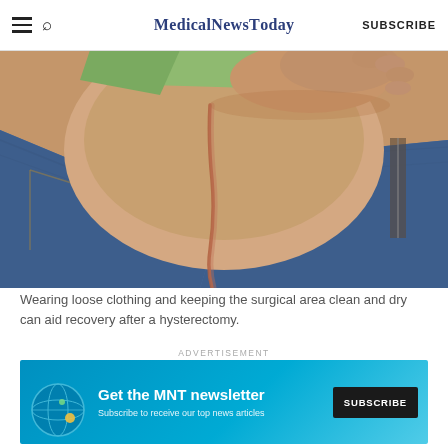MedicalNewsToday  SUBSCRIBE
[Figure (photo): Close-up of a person's abdomen showing a surgical scar (hysterectomy scar) near the waistband of blue jeans. The person is wearing a green top and lifting it to reveal the healed incision scar.]
Wearing loose clothing and keeping the surgical area clean and dry can aid recovery after a hysterectomy.
According to ACOG, there are three broad types of
[Figure (infographic): Advertisement banner: Get the MNT newsletter. Subscribe to receive our top news articles. SUBSCRIBE button.]